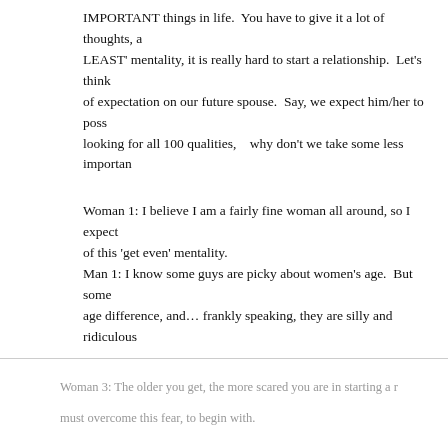IMPORTANT things in life.  You have to give it a lot of thoughts, a LEAST' mentality, it is really hard to start a relationship.  Let's think of expectation on our future spouse.  Say, we expect him/her to poss looking for all 100 qualities,   why don't we take some less importan
Woman 1: I believe I am a fairly fine woman all around, so I expect of this 'get even' mentality.
Man 1: I know some guys are picky about women's age.  But some age difference, and… frankly speaking, they are silly and ridiculous
Woman 2: My whole life depends on this ONE decision.  So, why s but I will keep looking, not give up on what I require!
Man 2: I will sort out what is really important for me first, and may courteous character.'  If I can find a woman with fine character and p
Woman 3: The older you get, the more scared you are in starting a r must overcome this fear, to begin with.